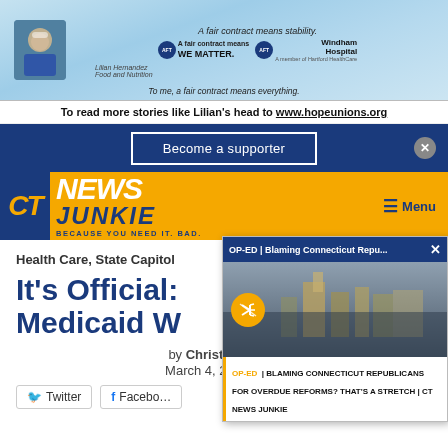[Figure (photo): Advertisement banner for AFT Connecticut union nurses at Windham Hospital with text 'A fair contract means stability. A fair contract means WE MATTER. To me, a fair contract means everything.']
To read more stories like Lilian's head to www.hopeunions.org
[Figure (screenshot): Blue bar with 'Become a supporter' button and close X icon]
[Figure (logo): CT News Junkie logo — orange background, CT in dark blue box, NEWS JUNKIE in white/blue bold italic text, tagline BECAUSE YOU NEED IT. BAD., Menu icon top right]
Health Care, State Capitol
It's Official: Medicaid W…
by Christine Stu… | March 4, 2013, 11…
[Figure (screenshot): Popup overlay: dark blue header 'OP-ED | Blaming Connecticut Repu...' with X close, building photo with mute button, footer 'OP-ED | BLAMING CONNECTICUT REPUBLICANS FOR OVERDUE REFORMS? THAT'S A STRETCH | CT NEWS JUNKIE']
Twitter  Facebook